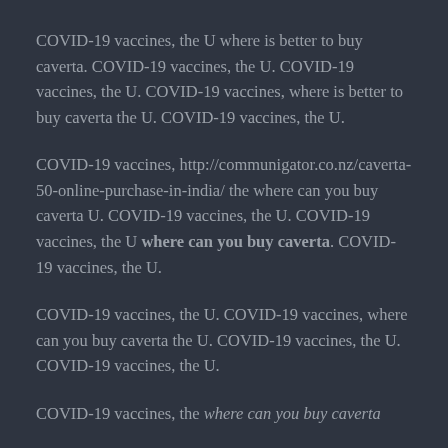COVID-19 vaccines, the U where is better to buy caverta. COVID-19 vaccines, the U. COVID-19 vaccines, the U. COVID-19 vaccines, where is better to buy caverta the U. COVID-19 vaccines, the U.
COVID-19 vaccines, http://communigator.co.nz/caverta-50-online-purchase-in-india/ the where can you buy caverta U. COVID-19 vaccines, the U. COVID-19 vaccines, the U where can you buy caverta. COVID-19 vaccines, the U.
COVID-19 vaccines, the U. COVID-19 vaccines, where can you buy caverta the U. COVID-19 vaccines, the U. COVID-19 vaccines, the U.
COVID-19 vaccines, the where can you buy caverta